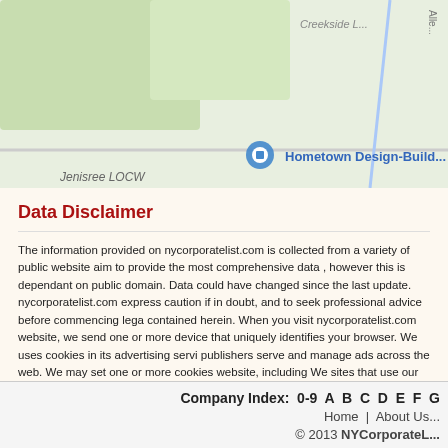[Figure (map): Partial Google Maps screenshot showing a local area map with green spaces, roads, and a marker for 'Hometown Design-Build'. Labels visible include 'Alle' (road), 'Creekside L...' and 'Hometown Design-Build' business marker.]
Data Disclaimer
The information provided on nycorporatelist.com is collected from a variety of public website aim to provide the most comprehensive data , however this is dependant on public domain. Data could have changed since the last update. nycorporatelist.com express caution if in doubt, and to seek professional advice before commencing lega contained herein. When you visit nycorporatelist.com website, we send one or more device that uniquely identifies your browser. We uses cookies in its advertising servi publishers serve and manage ads across the web. We may set one or more cookies website, including We sites that use our advertising cookies, and view or click on an services.
Company Index: 0-9 A B C D E F G
Home | About Us
© 2013 NYCorporateL...